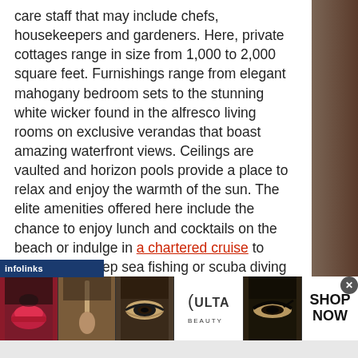care staff that may include chefs, housekeepers and gardeners. Here, private cottages range in size from 1,000 to 2,000 square feet. Furnishings range from elegant mahogany bedroom sets to the stunning white wicker found in the alfresco living rooms on exclusive verandas that boast amazing waterfront views. Ceilings are vaulted and horizon pools provide a place to relax and enjoy the warmth of the sun. The elite amenities offered here include the chance to enjoy lunch and cocktails on the beach or indulge in a chartered cruise to experience deep sea fishing or scuba diving excursions. The many celebrities that favor the Jamaican hideaway include
[Figure (screenshot): An advertisement banner for Ulta Beauty featuring close-up makeup photos (lips, brush, eyes) alongside the Ulta logo and 'SHOP NOW' call to action]